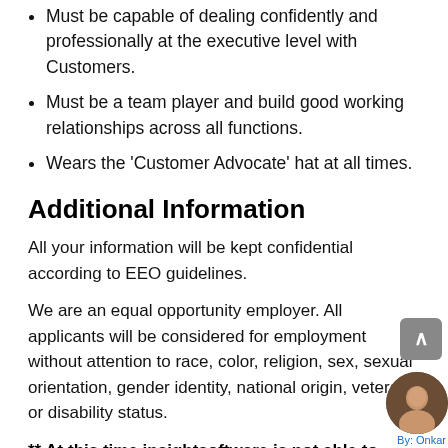Must be capable of dealing confidently and professionally at the executive level with Customers.
Must be a team player and build good working relationships across all functions.
Wears the 'Customer Advocate' hat at all times.
Additional Information
All your information will be kept confidential according to EEO guidelines.
We are an equal opportunity employer. All applicants will be considered for employment without attention to race, color, religion, sex, sexual orientation, gender identity, national origin, veteran, or disability status.
** At this time insightsoftware is not able to offer sponsorship to candidates who are not